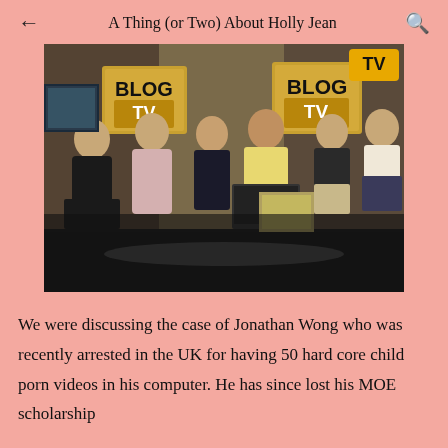A Thing (or Two) About Holly Jean
[Figure (photo): A TV studio setting showing six people seated in a discussion panel on a Blog TV show. Five guests and one host are seated in a semicircle. Two Blog TV logo signs are visible in the background. A TV logo appears in the upper right corner.]
We were discussing the case of Jonathan Wong who was recently arrested in the UK for having 50 hard core child porn videos in his computer. He has since lost his MOE scholarship